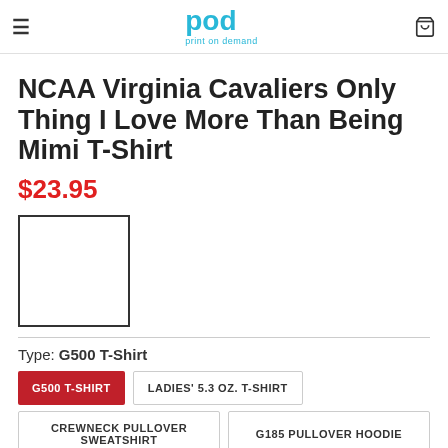pod print on demand
NCAA Virginia Cavaliers Only Thing I Love More Than Being Mimi T-Shirt
$23.95
[Figure (photo): White T-shirt product thumbnail image in a bordered box]
Type: G500 T-Shirt
G500 T-SHIRT | LADIES' 5.3 OZ. T-SHIRT
CREWNECK PULLOVER SWEATSHIRT | G185 PULLOVER HOODIE